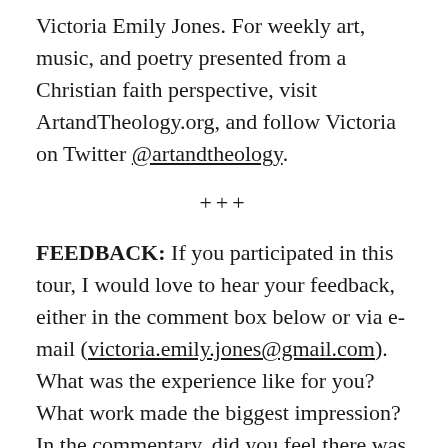Victoria Emily Jones. For weekly art, music, and poetry presented from a Christian faith perspective, visit ArtandTheology.org, and follow Victoria on Twitter @artandtheology.
+++
FEEDBACK: If you participated in this tour, I would love to hear your feedback, either in the comment box below or via e-mail (victoria.emily.jones@gmail.com). What was the experience like for you? What work made the biggest impression? In the commentary, did you feel there was an appropriate balance of artist biography, image analysis, and devotional reflection, or would you have liked it to be